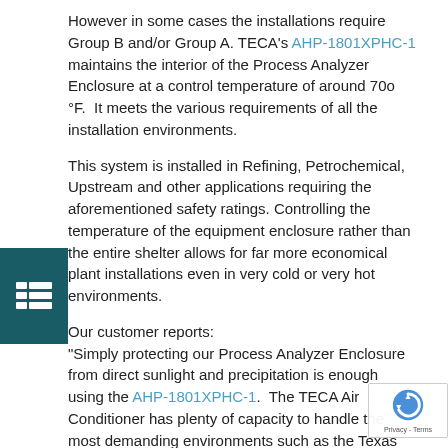However in some cases the installations require Group B and/or Group A. TECA's AHP-1801XPHC-1 maintains the interior of the Process Analyzer Enclosure at a control temperature of around 70o °F.  It meets the various requirements of all the installation environments.
This system is installed in Refining, Petrochemical, Upstream and other applications requiring the aforementioned safety ratings. Controlling the temperature of the equipment enclosure rather than the entire shelter allows for far more economical plant installations even in very cold or very hot environments.
Our customer reports:
"Simply protecting our Process Analyzer Enclosure from direct sunlight and precipitation is enough using the AHP-1801XPHC-1.  The TECA Air Conditioner has plenty of capacity to handle the most demanding environments such as the Texas Gulf Coast and even in Alberta, CA. See the actual plant installation picture where 3 Process Enclosures are shown. The TECA Air Conditioners are clearly evident below each analyzer.  These units have been in operation